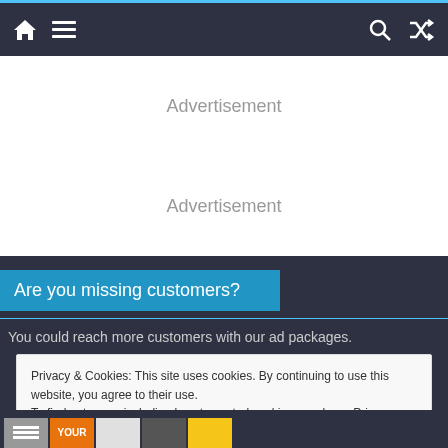Navigation bar with home, menu, search, and shuffle icons
Advertisement
Advertisement
Are you missing customers?
You could reach more customers with our ad packages.
Privacy & Cookies: This site uses cookies. By continuing to use this website, you agree to their use.
To find out more, including how to control cookies, see here: Privacy Policy